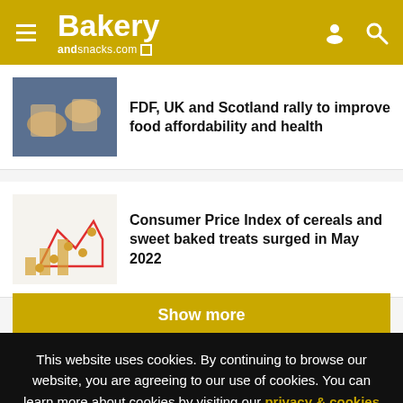Bakery andsnacks.com
FDF, UK and Scotland rally to improve food affordability and health
Consumer Price Index of cereals and sweet baked treats surged in May 2022
Show more
This website uses cookies. By continuing to browse our website, you are agreeing to our use of cookies. You can learn more about cookies by visiting our privacy & cookies policy page.
I Agree